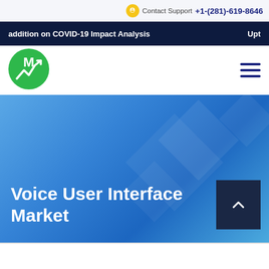Contact Support +1-(281)-619-8646
addition on COVID-19 Impact Analysis   Upt
[Figure (logo): Green circular logo with white M and upward arrow chart mark]
Voice User Interface Market